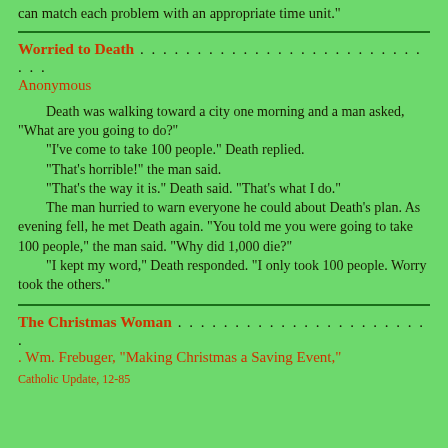can match each problem with an appropriate time unit."
Worried to Death . . . . . . . . . . . . . . . . . . . . . . . . . . . .
Anonymous
Death was walking toward a city one morning and a man asked, "What are you going to do?"
    "I've come to take 100 people." Death replied.
    "That's horrible!" the man said.
    "That's the way it is." Death said. "That's what I do."
    The man hurried to warn everyone he could about Death's plan. As evening fell, he met Death again. "You told me you were going to take 100 people," the man said. "Why did 1,000 die?"
    "I kept my word," Death responded. "I only took 100 people. Worry took the others."
The Christmas Woman . . . . . . . . . . . . . . . . . . . . . . .
. Wm. Frebuger, "Making Christmas a Saving Event,"
Catholic Update, 12-85